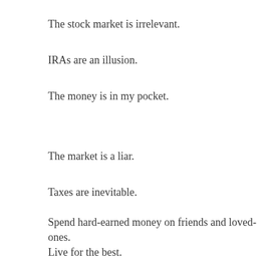The stock market is irrelevant.
IRAs are an illusion.
The money is in my pocket.
The market is a liar.
Taxes are inevitable.
Spend hard-earned money on friends and loved-ones.
Live for the best.